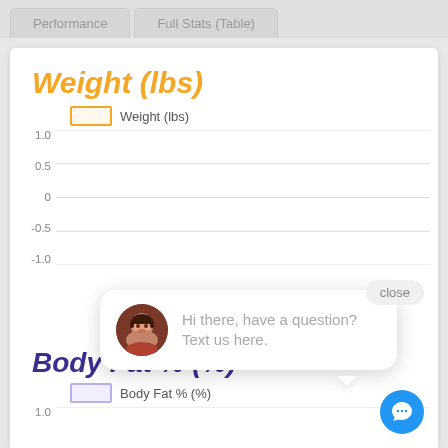Performance   Full Stats (Table)
Weight (lbs)
[Figure (continuous-plot): Line chart for Weight (lbs) with y-axis from -1.0 to 1.0, no data points visible in this view. Legend shows orange outlined rectangle labeled 'Weight (lbs)'.]
[Figure (other): Chat widget popup with avatar photo of a woman and text 'Hi there, have a question? Text us here.' with a close button.]
Body Fat % (%)
[Figure (continuous-plot): Line chart for Body Fat % (%) with y-axis starting at 1.0, no data points visible. Legend shows purple outlined rectangle labeled 'Body Fat % (%)'.]